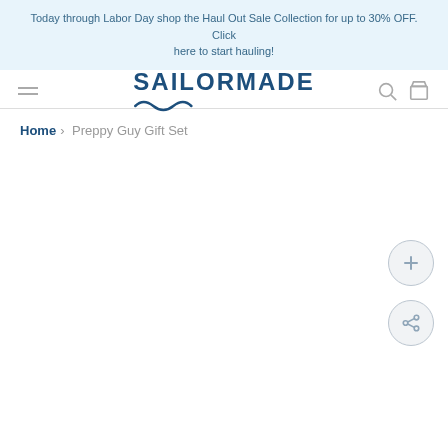Today through Labor Day shop the Haul Out Sale Collection for up to 30% OFF. Click here to start hauling!
[Figure (logo): SAILORMADE logo with wave decoration beneath]
Home › Preppy Guy Gift Set